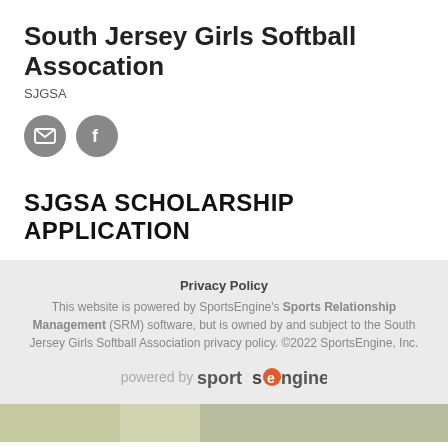South Jersey Girls Softball Assocation
SJGSA
[Figure (illustration): Two circular icon buttons: email icon (envelope) and Facebook icon (F), both on grey circular backgrounds.]
SJGSA SCHOLARSHIP APPLICATION
Privacy Policy
This website is powered by SportsEngine's Sports Relationship Management (SRM) software, but is owned by and subject to the South Jersey Girls Softball Association privacy policy. ©2022 SportsEngine, Inc.
powered by sportsengine